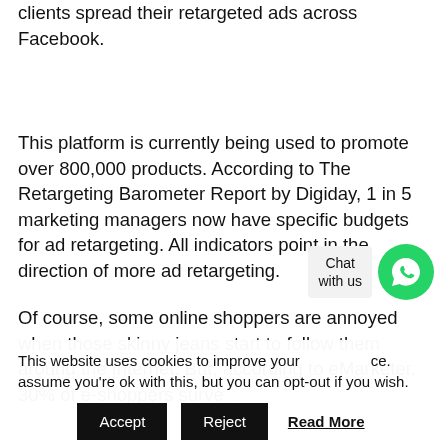clients spread their retargeted ads across Facebook.
This platform is currently being used to promote over 800,000 products. According to The Retargeting Barometer Report by Digiday, 1 in 5 marketing managers now have specific budgets for ad retargeting. All indicators point in the direction of more ad retargeting.
Of course, some online shoppers are annoyed when those skinny jeans start to follow them around the Internet. But, according to eMarketer, 30% of e-shoppers surve...
This website uses cookies to improve your [experience]. We'll assume you're ok with this, but you can opt-out if you wish.
Accept | Reject | Read More
Chat with us